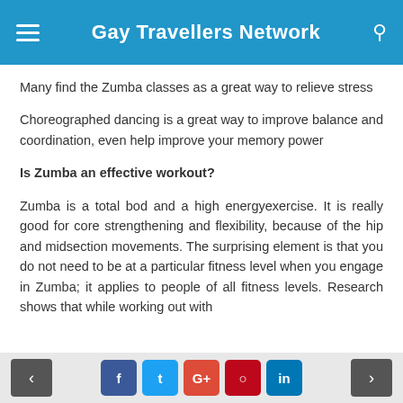Gay Travellers Network
Many find the Zumba classes as a great way to relieve stress
Choreographed dancing is a great way to improve balance and coordination, even help improve your memory power
Is Zumba an effective workout?
Zumba is a total bod and a high energyexercise. It is really good for core strengthening and flexibility, because of the hip and midsection movements. The surprising element is that you do not need to be at a particular fitness level when you engage in Zumba; it applies to people of all fitness levels. Research shows that while working out with
< f t G+ p in >